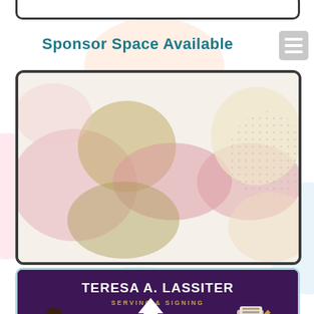[Figure (screenshot): Top card partially visible at the top of the page, dark bordered rounded rectangle]
Sponsor Space Available
[Figure (illustration): Hamburger menu icon on gray background, top right]
[Figure (illustration): Middle card with colorful blurred circles/bubbles on a light background, decorative sponsor placeholder]
[Figure (illustration): Teresa A. Lassiter Serving & Signing notary advertisement card with dark purple background, white and gold text, and notary related icons]
TERESA A. LASSITER
SERVING & SIGNING
NOTARY